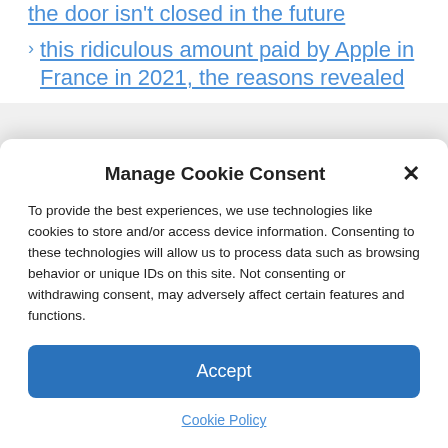the door isn't closed in the future
this ridiculous amount paid by Apple in France in 2021, the reasons revealed
Manage Cookie Consent
To provide the best experiences, we use technologies like cookies to store and/or access device information. Consenting to these technologies will allow us to process data such as browsing behavior or unique IDs on this site. Not consenting or withdrawing consent, may adversely affect certain features and functions.
Accept
Cookie Policy